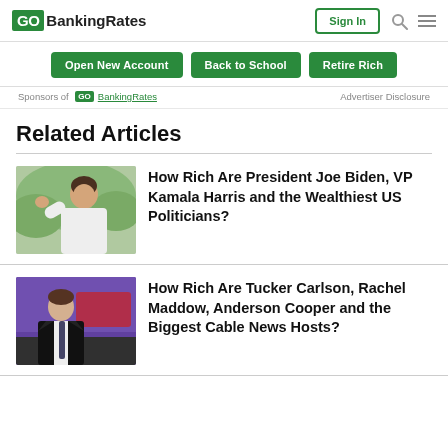GOBankingRates | Sign In
Open New Account | Back to School | Retire Rich
Sponsors of GOBankingRates  Advertiser Disclosure
Related Articles
[Figure (photo): Photo of a woman in white jacket waving, with plants in background]
How Rich Are President Joe Biden, VP Kamala Harris and the Wealthiest US Politicians?
[Figure (photo): Photo of a man in black suit with tie, standing in front of a purple TV studio background]
How Rich Are Tucker Carlson, Rachel Maddow, Anderson Cooper and the Biggest Cable News Hosts?